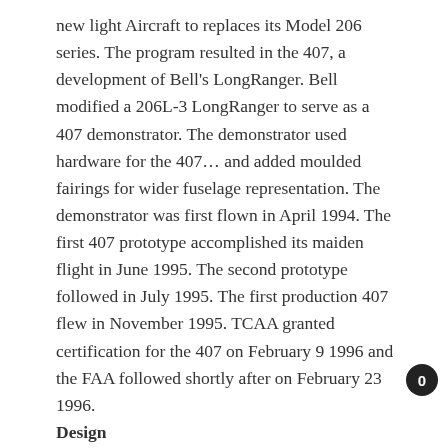new light Aircraft to replaces its Model 206 series. The program resulted in the 407, a development of Bell's LongRanger. Bell modified a 206L-3 LongRanger to serve as a 407 demonstrator. The demonstrator used hardware for the 407… and added moulded fairings for wider fuselage representation. The demonstrator was first flown in April 1994. The first 407 prototype accomplished its maiden flight in June 1995. The second prototype followed in July 1995. The first production 407 flew in November 1995. TCAA granted certification for the 407 on February 9 1996 and the FAA followed shortly after on February 23 1996.
Design
The Bell 407 features a four blade main rotor. In addition, the blades and hub use composite construction without life limits.